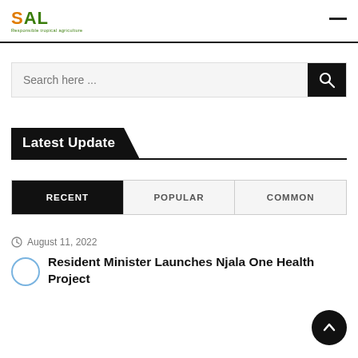[Figure (logo): SAL logo with text 'Responsible tropical agriculture' in green]
Search here ...
Latest Update
RECENT | POPULAR | COMMON
August 11, 2022
Resident Minister Launches Njala One Health Project